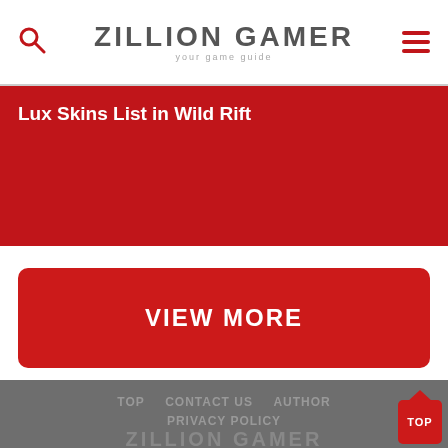ZILLION GAMER your game guide
Lux Skins List in Wild Rift
VIEW MORE
TOP   CONTACT US   AUTHOR   PRIVACY POLICY   ZILLION GAMER your game guide   Copyright © 2020 zilliongamer.com